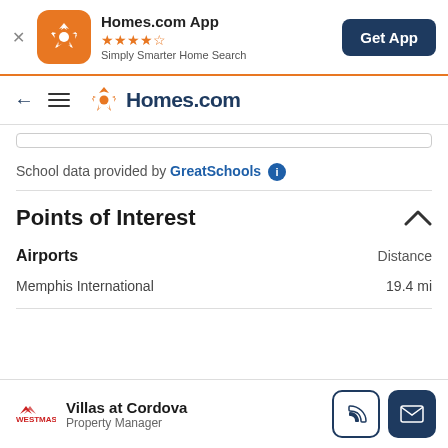Homes.com App — ★★★★☆ — Simply Smarter Home Search — Get App
← ≡ Homes.com
School data provided by GreatSchools ℹ
Points of Interest
| Airports | Distance |
| --- | --- |
| Memphis International | 19.4 mi |
Villas at Cordova — Property Manager